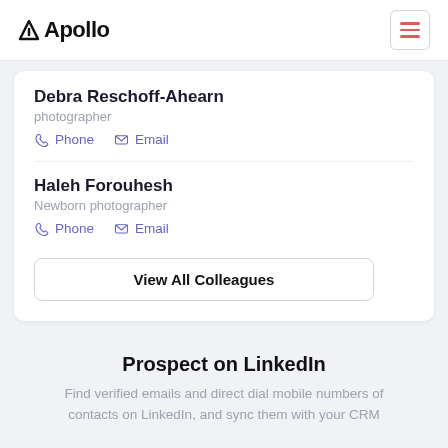Apollo
Debra Reschoff-Ahearn
photographer
Phone  Email
Haleh Forouhesh
Newborn photographer
Phone  Email
View All Colleagues
Prospect on LinkedIn
Find verified emails and direct dial mobile numbers of contacts on LinkedIn, and sync them with your CRM